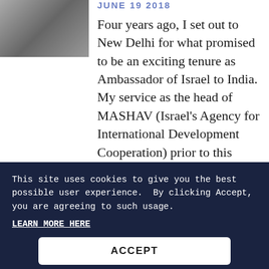[Figure (photo): Partial photo of a person, shown in the upper left corner of the page]
JUNE 19 2018
Four years ago, I set out to New Delhi for what promised to be an exciting tenure as Ambassador of Israel to India. My service as the head of MASHAV (Israel's Agency for International Development Cooperation) prior to this posting had introduced me to the potential of the growing partnership between India and Israel through development. As ambassador, I
This site uses cookies to give you the best possible user experience.  By clicking Accept, you are agreeing to such usage.
LEARN MORE HERE
ACCEPT